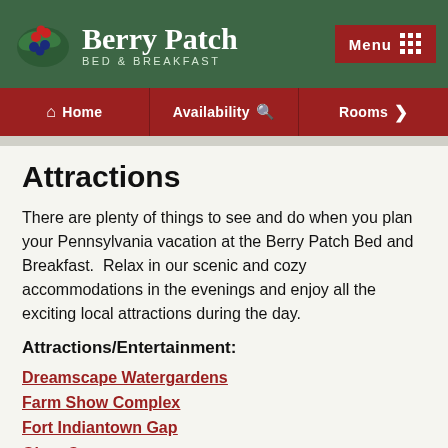[Figure (logo): Berry Patch Bed & Breakfast logo with berry illustration on dark green header background]
Menu
Home | Availability | Rooms
Attractions
There are plenty of things to see and do when you plan your Pennsylvania vacation at the Berry Patch Bed and Breakfast.  Relax in our scenic and cozy accommodations in the evenings and enjoy all the exciting local attractions during the day.
Attractions/Entertainment:
Dreamscape Watergardens
Farm Show Complex
Fort Indiantown Gap
Giant Center
Hershey Area Playhouse
Hershey's Chocolate World